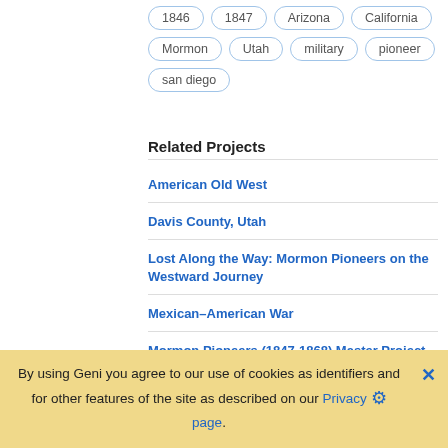1846
1847
Arizona
California
Mormon
Utah
military
pioneer
san diego
Related Projects
American Old West
Davis County, Utah
Lost Along the Way: Mormon Pioneers on the Westward Journey
Mexican–American War
Mormon Pioneers (1847-1868) Master Project
Mormonism Portal
Nauvoo Legion
By using Geni you agree to our use of cookies as identifiers and for other features of the site as described on our Privacy page.